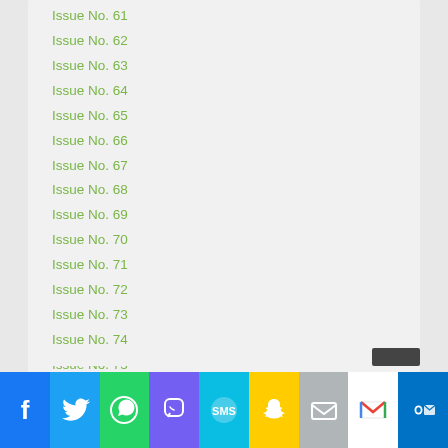Issue No. 61
Issue No. 62
Issue No. 63
Issue No. 64
Issue No. 65
Issue No. 66
Issue No. 67
Issue No. 68
Issue No. 69
Issue No. 70
Issue No. 71
Issue No. 72
Issue No. 73
Issue No. 74
Issue No. 75
Issue No. 76
Issue No. 77
Issue No. 78
Issue No. 79